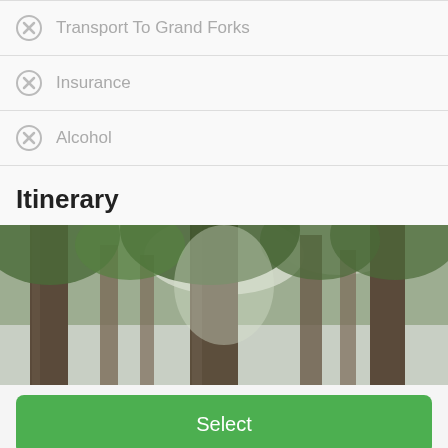Transport To Grand Forks
Insurance
Alcohol
Itinerary
[Figure (photo): Looking up at tall conifer trees with overcast sky visible between the canopy, green forest scene]
Select
Download Brochure